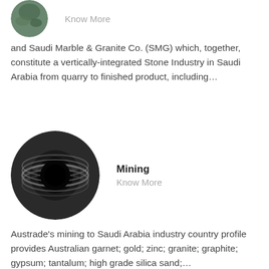[Figure (photo): Partial circular photo of green/nature subject, cropped at top of page]
Know More
and Saudi Marble & Granite Co. (SMG) which, together, constitute a vertically-integrated Stone Industry in Saudi Arabia from quarry to finished product, including...
[Figure (photo): Circular photo of a metal pipe or tube end, dark industrial subject]
Mining
Know More
Austrade's mining to Saudi Arabia industry country profile provides Australian garnet; gold; zinc; granite; graphite; gypsum; tantalum; high grade silica sand;...
[Figure (photo): Partial circular photo of industrial/factory setting with machinery]
Rare
Know More